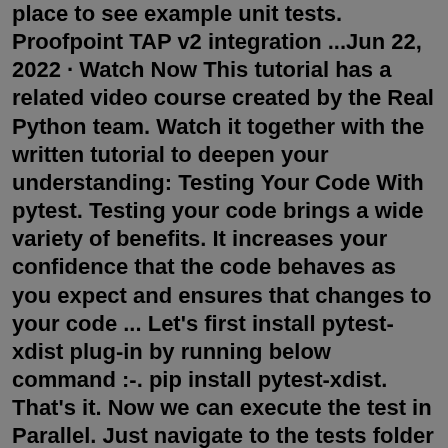place to see example unit tests. Proofpoint TAP v2 integration ...Jun 22, 2022 · Watch Now This tutorial has a related video course created by the Real Python team. Watch it together with the written tutorial to deepen your understanding: Testing Your Code With pytest. Testing your code brings a wide variety of benefits. It increases your confidence that the code behaves as you expect and ensures that changes to your code ... Let's first install pytest-xdist plug-in by running below command :-. pip install pytest-xdist. That's it. Now we can execute the test in Parallel. Just navigate to the tests folder and run the command :-. pytest -n=2. Here the alphabet 'n' in the above command indicates the number of browsers you wanted to open and run the test cases in ...That's it. You don't have to deal with any imports or classes. All you need to do is include a function with the test_ prefix. Because you can use the assert keyword, you don't need to learn or remember all the different self.assert* methods in unittest, either.If you can write an expression that you expect to evaluate to True, and